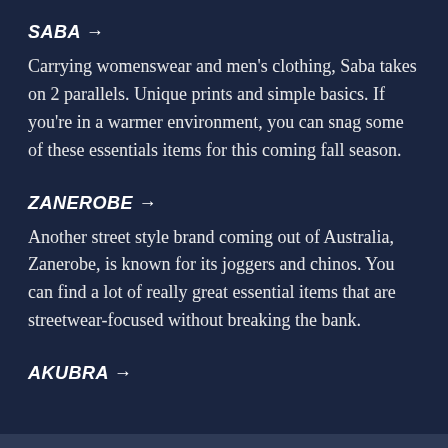SABA →
Carrying womenswear and men's clothing, Saba takes on 2 parallels. Unique prints and simple basics. If you're in a warmer environment, you can snag some of these essentials items for this coming fall season.
ZANEROBE →
Another street style brand coming out of Australia, Zanerobe, is known for its joggers and chinos. You can find a lot of really great essential items that are streetwear-focused without breaking the bank.
AKUBRA →